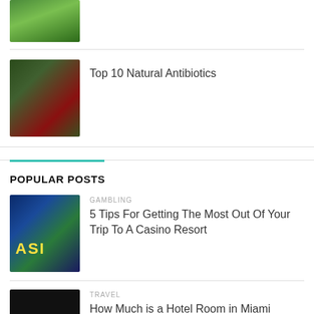[Figure (photo): Green leafy plant thumbnail at top]
[Figure (photo): Natural antibiotics - dark background with tomatoes and green vegetables]
Top 10 Natural Antibiotics
POPULAR POSTS
[Figure (photo): Casino resort exterior with ASI sign and palm trees, night scene]
GAMBLING
5 Tips For Getting The Most Out Of Your Trip To A Casino Resort
[Figure (photo): Black/dark hotel room image for Miami Beach article]
TRAVEL
How Much is a Hotel Room in Miami Beach?